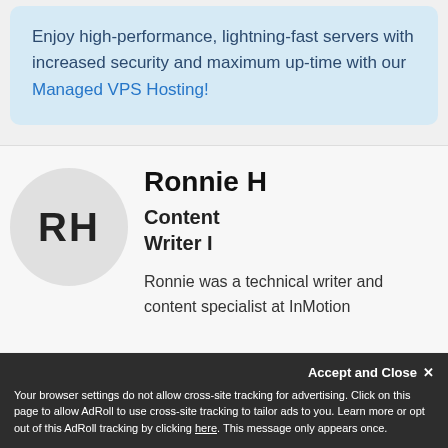Enjoy high-performance, lightning-fast servers with increased security and maximum up-time with our Managed VPS Hosting!
[Figure (other): Avatar circle with initials RH]
Ronnie H
Content Writer I
Ronnie was a technical writer and content specialist at InMotion
Your browser settings do not allow cross-site tracking for advertising. Click on this page to allow AdRoll to use cross-site tracking to tailor ads to you. Learn more or opt out of this AdRoll tracking by clicking here. This message only appears once.